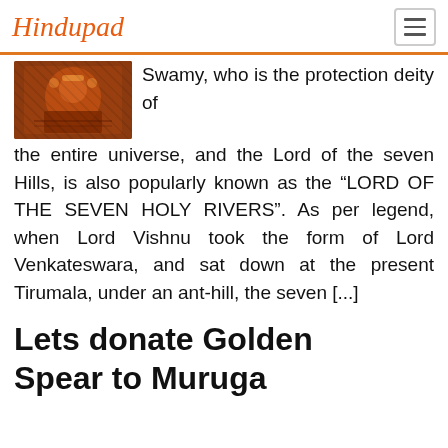Hindupad
[Figure (photo): Photo of a Hindu deity idol, colorful and ornate]
Swamy, who is the protection deity of the entire universe, and the Lord of the seven Hills, is also popularly known as the “LORD OF THE SEVEN HOLY RIVERS”. As per legend, when Lord Vishnu took the form of Lord Venkateswara, and sat down at the present Tirumala, under an ant-hill, the seven [...]
Lets donate Golden Spear to Muruga